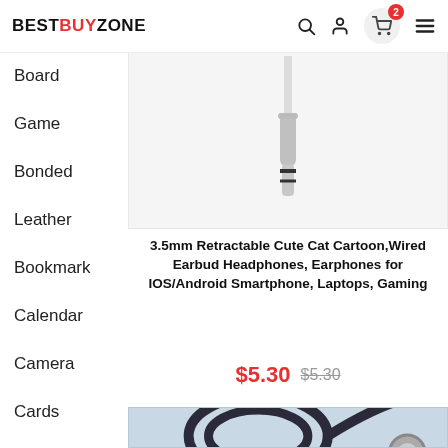BESTBUYZONE
Board
Game
Bonded
Leather
Bookmark
Calendar
Camera
Cards
CD-ROM
Comic
[Figure (photo): 3.5mm audio jack plug close-up on white background]
3.5mm Retractable Cute Cat Cartoon,Wired Earbud Headphones, Earphones for IOS/Android Smartphone, Laptops, Gaming
$5.30  $5.30
[Figure (photo): Black wired earbud/headphone coiled on light blue background]